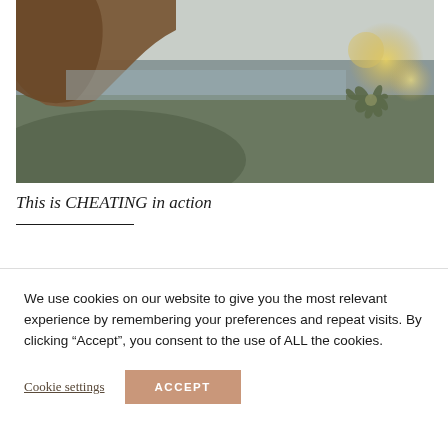[Figure (photo): A blurred outdoor photo showing a hand in the upper left holding what appears to be a plant or flower with bokeh lights in the background, landscape and sky visible]
This is CHEATING in action
We use cookies on our website to give you the most relevant experience by remembering your preferences and repeat visits. By clicking “Accept”, you consent to the use of ALL the cookies.
Cookie settings  ACCEPT